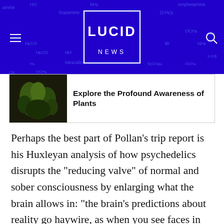[Figure (logo): Lucid News logo on dark blue background with chemical structure diagram overlay]
Explore the Profound Awareness of Plants
Perhaps the best part of Pollan’s trip report is his Huxleyan analysis of how psychedelics disrupts the “reducing valve” of normal and sober consciousness by enlarging what the brain allows in: “the brain’s predictions about reality go haywire, as when you see faces in the clouds or musical notes that leap to life or something happens to convince you you’re